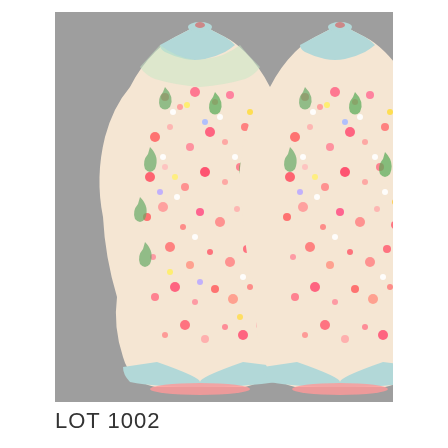[Figure (photo): Photograph of a pair of Chinese famille rose millefleur (mille fleurs) porcelain vases, decorated with densely packed colorful flowers including roses and blossoms in pink, red, green, yellow, and white on a light ground, with a pale blue-green neck and base band with pink trim. The vases are shown side by side against a gray background.]
LOT 1002